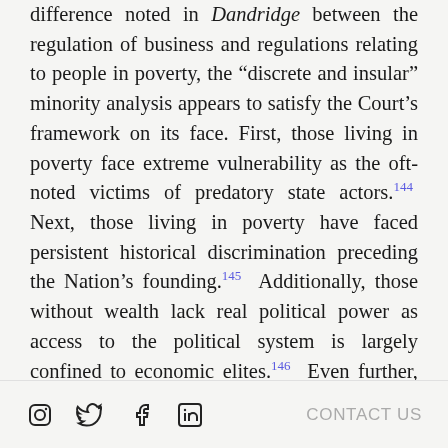difference noted in Dandridge between the regulation of business and regulations relating to people in poverty, the “discrete and insular” minority analysis appears to satisfy the Court’s framework on its face. First, those living in poverty face extreme vulnerability as the oft-noted victims of predatory state actors.[144] Next, those living in poverty have faced persistent historical discrimination preceding the Nation’s founding.[145] Additionally, those without wealth lack real political power as access to the political system is largely confined to economic elites.[146] Even further, poverty ensnares those within its grasp, creating a de
Social media icons: Instagram, Twitter, Facebook, LinkedIn | CONTACT US